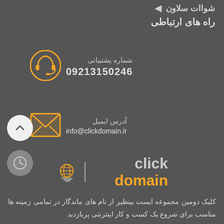شواات سلاون
راه های ارتباطی
شماره پشتیبانی
09213150246
آدرس ایمیل
info@clickdomain.ir
[Figure (logo): click domain logo with globe and cart icon]
کلیک دومین مجموعه ایست بینظیر از نام های ماندگار در تمامی زمینه ها مناسب برای شروع یک کسب و کار اینترنتی پربازدید